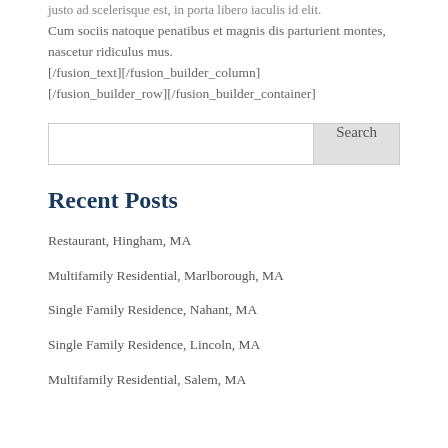justo ad scelerisque est, in porta libero iaculis id elit. Cum sociis natoque penatibus et magnis dis parturient montes, nascetur ridiculus mus. [/fusion_text][/fusion_builder_column][/fusion_builder_row][/fusion_builder_container]
Search
Recent Posts
Restaurant, Hingham, MA
Multifamily Residential, Marlborough, MA
Single Family Residence, Nahant, MA
Single Family Residence, Lincoln, MA
Multifamily Residential, Salem, MA